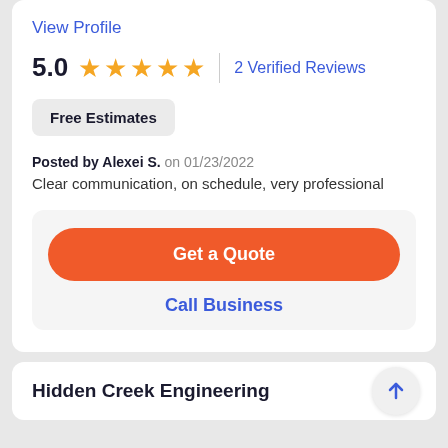View Profile
5.0  ★★★★★  |  2 Verified Reviews
Free Estimates
Posted by Alexei S. on 01/23/2022
Clear communication, on schedule, very professional
Get a Quote
Call Business
Hidden Creek Engineering